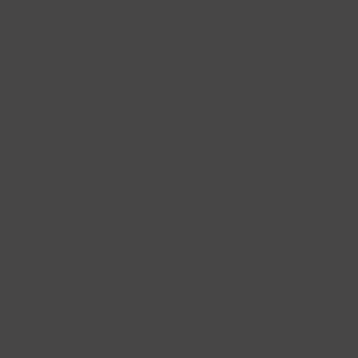[Figure (other): Solid dark gray background filling the entire page, approximately #474646 color with no visible text or other content.]